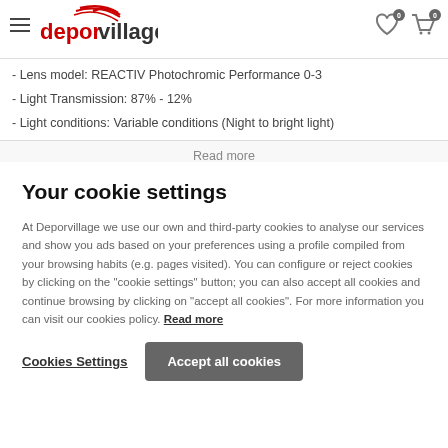deporvillage header with hamburger menu, logo, wishlist and cart icons
- Lens model: REACTIV Photochromic Performance 0-3
- Light Transmission: 87% - 12%
- Light conditions: Variable conditions (Night to bright light)
Read more
Your cookie settings
At Deporvillage we use our own and third-party cookies to analyse our services and show you ads based on your preferences using a profile compiled from your browsing habits (e.g. pages visited). You can configure or reject cookies by clicking on the "cookie settings" button; you can also accept all cookies and continue browsing by clicking on "accept all cookies". For more information you can visit our cookies policy. Read more
Cookies Settings
Accept all cookies